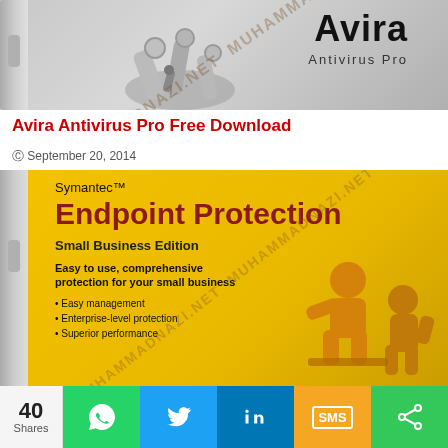[Figure (photo): Avira Antivirus Pro software box — silver/gray background with robot/screw imagery and 'Avira Antivirus Pro' branding, with diagonal watermark text]
Avira Antivirus Pro Free Download
September 20, 2014
[Figure (photo): Symantec Endpoint Protection Small Business Edition software box — yellow/gold background with dark red product title, orange 3D figures at bottom right, diagonal watermark text. Text includes: Symantec™, Endpoint Protection, Small Business Edition, Easy to use, comprehensive protection for your small business, • Easy management, • Enterprise-level protection, • Superior performance]
40 Shares